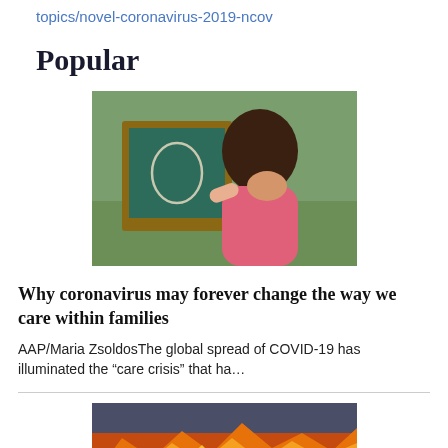topics/novel-coronavirus-2019-ncov
Popular
[Figure (photo): A young child drawing on a small chalkboard outdoors, wearing a pink top, with green grass in the background.]
Why coronavirus may forever change the way we care within families
AAP/Maria ZsoldosThe global spread of COVID-19 has illuminated the “care crisis” that ha…
[Figure (photo): A dramatic image of orange and red fire or flames against a dark cloudy sky, partially visible at the bottom of the page.]